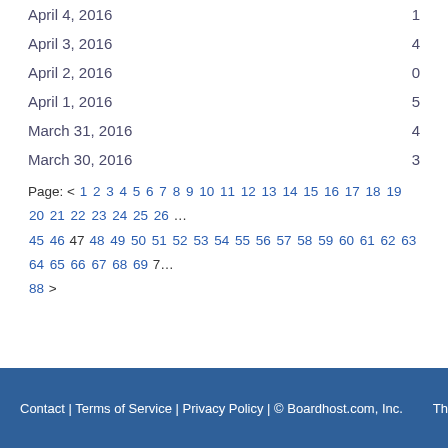| Date | Count |
| --- | --- |
| April 4, 2016 | 1 |
| April 3, 2016 | 4 |
| April 2, 2016 | 0 |
| April 1, 2016 | 5 |
| March 31, 2016 | 4 |
| March 30, 2016 | 3 |
Page: < 1 2 3 4 5 6 7 8 9 10 11 12 13 14 15 16 17 18 19 20 21 22 23 24 25 26 … 45 46 47 48 49 50 51 52 53 54 55 56 57 58 59 60 61 62 63 64 65 66 67 68 69 7… 88 >
Contact | Terms of Service | Privacy Policy | © Boardhost.com, Inc.  Th…